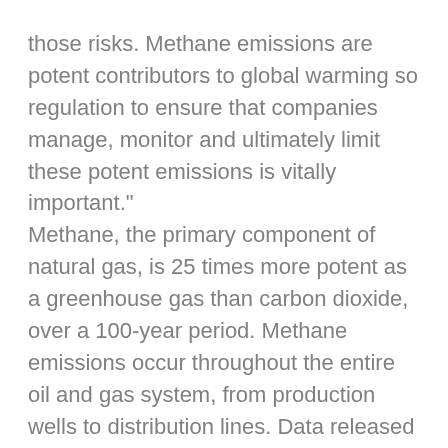those risks. Methane emissions are potent contributors to global warming so regulation to ensure that companies manage, monitor and ultimately limit these potent emissions is vitally important." Methane, the primary component of natural gas, is 25 times more potent as a greenhouse gas than carbon dioxide, over a 100-year period. Methane emissions occur throughout the entire oil and gas system, from production wells to distribution lines. Data released by the Environmental Protection Agency in April show that emissions in 2013 increased three percent over the previous year. "Direct methane regulations would be good for the climate, the energy sector and the broader